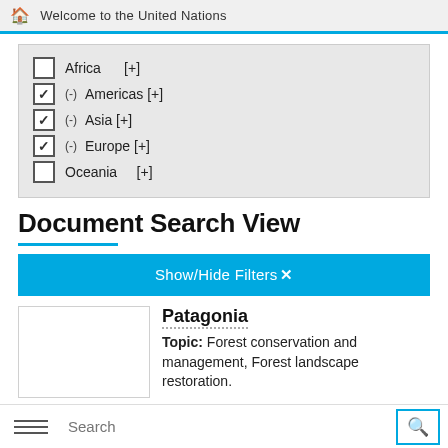Welcome to the United Nations
Africa [+]
(-) Americas [+]
(-) Asia [+]
(-) Europe [+]
Oceania [+]
Document Search View
Show/Hide Filters ✕
Patagonia
Topic: Forest conservation and management, Forest landscape restoration.
Search